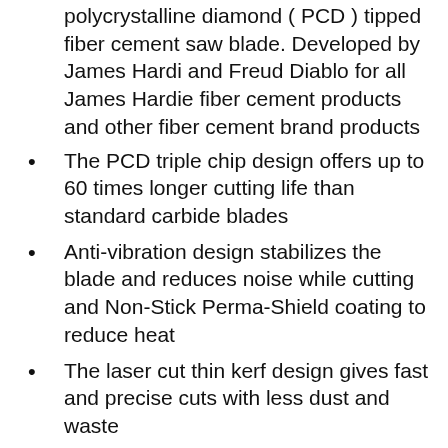polycrystalline diamond ( PCD ) tipped fiber cement saw blade. Developed by James Hardi and Freud Diablo for all James Hardie fiber cement products and other fiber cement brand products
The PCD triple chip design offers up to 60 times longer cutting life than standard carbide blades
Anti-vibration design stabilizes the blade and reduces noise while cutting and Non-Stick Perma-Shield coating to reduce heat
The laser cut thin kerf design gives fast and precise cuts with less dust and waste
Additional f...